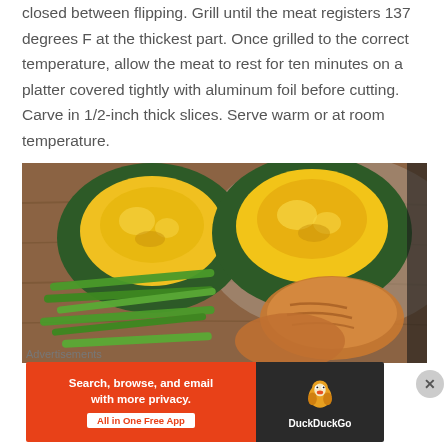closed between flipping. Grill until the meat registers 137 degrees F at the thickest part. Once grilled to the correct temperature, allow the meat to rest for ten minutes on a platter covered tightly with aluminum foil before cutting. Carve in 1/2-inch thick slices. Serve warm or at room temperature.
[Figure (photo): Photo of a meal with two halved roasted acorn squash (dark green skin, yellow interior), green beans, and sliced grilled meat on a wooden cutting board.]
Advertisements
[Figure (screenshot): DuckDuckGo advertisement banner: red left panel with text 'Search, browse, and email with more privacy. All in One Free App', dark right panel with DuckDuckGo duck logo and 'DuckDuckGo' text.]